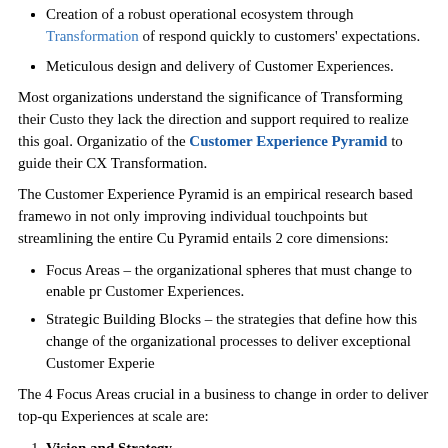Creation of a robust operational ecosystem through Transformation of … respond quickly to customers' expectations.
Meticulous design and delivery of Customer Experiences.
Most organizations understand the significance of Transforming their Customer Experience, they lack the direction and support required to realize this goal. Organizations can make use of the Customer Experience Pyramid to guide their CX Transformation.
The Customer Experience Pyramid is an empirical research based framework… in not only improving individual touchpoints but streamlining the entire Customer Experience. Pyramid entails 2 core dimensions:
Focus Areas – the organizational spheres that must change to enable providing exceptional Customer Experiences.
Strategic Building Blocks – the strategies that define how this change can be implemented of the organizational processes to deliver exceptional Customer Experiences.
The 4 Focus Areas crucial in a business to change in order to deliver top-quality Customer Experiences at scale are:
Vision and Strategy
Talent Management